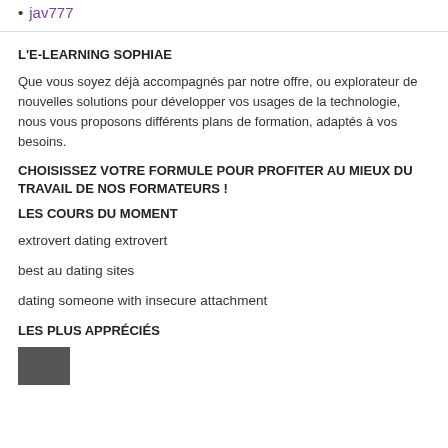jav777
L'E-LEARNING SOPHIAE
Que vous soyez déjà accompagnés par notre offre, ou explorateur de nouvelles solutions pour développer vos usages de la technologie, nous vous proposons différents plans de formation, adaptés à vos besoins.
CHOISISSEZ VOTRE FORMULE POUR PROFITER AU MIEUX DU TRAVAIL DE NOS FORMATEURS !
LES COURS DU MOMENT
extrovert dating extrovert
best au dating sites
dating someone with insecure attachment
LES PLUS APPRÉCIÉS
[Figure (photo): Small thumbnail image at bottom left]